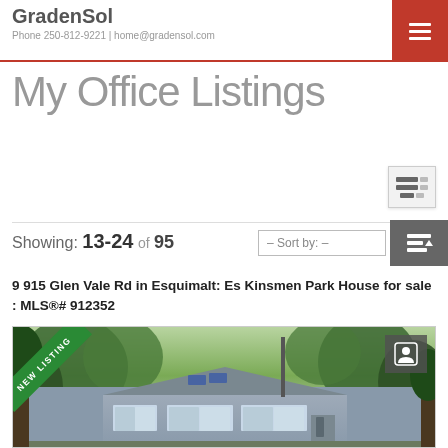GradenSol — Phone 250-812-9221 | home@gradensol.com
My Office Listings
Showing: 13-24 of 95
– Sort by: –
9 915 Glen Vale Rd in Esquimalt: Es Kinsmen Park House for sale : MLS®# 912352
[Figure (photo): Exterior photo of a house at 9 915 Glen Vale Rd in Esquimalt with a New Listing ribbon in the top-left corner. The house is a grey/blue single-storey home surrounded by trees. A contact agent button is visible in the top-right corner of the photo.]